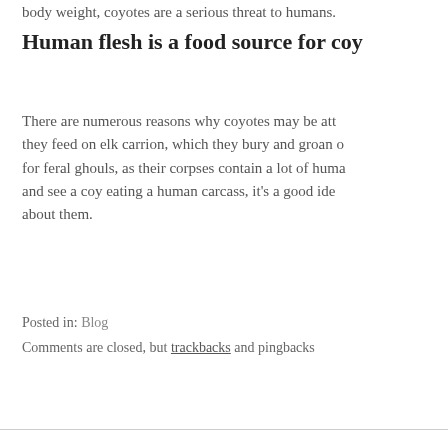body weight, coyotes are a serious threat to humans.
Human flesh is a food source for coy
There are numerous reasons why coyotes may be att they feed on elk carrion, which they bury and groan o for feral ghouls, as their corpses contain a lot of huma and see a coy eating a human carcass, it’s a good ide about them.
Posted in: Blog
Comments are closed, but trackbacks and pingbacks